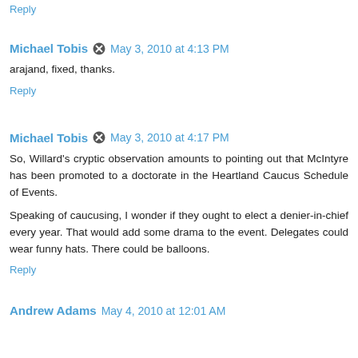Reply
Michael Tobis  May 3, 2010 at 4:13 PM
arajand, fixed, thanks.
Reply
Michael Tobis  May 3, 2010 at 4:17 PM
So, Willard's cryptic observation amounts to pointing out that McIntyre has been promoted to a doctorate in the Heartland Caucus Schedule of Events.
Speaking of caucusing, I wonder if they ought to elect a denier-in-chief every year. That would add some drama to the event. Delegates could wear funny hats. There could be balloons.
Reply
Andrew Adams  May 4, 2010 at 12:01 AM